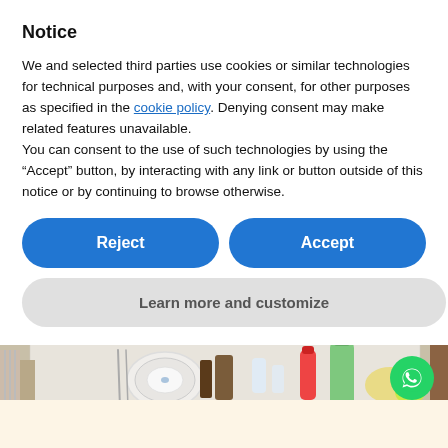Notice
We and selected third parties use cookies or similar technologies for technical purposes and, with your consent, for other purposes as specified in the cookie policy. Denying consent may make related features unavailable.
You can consent to the use of such technologies by using the “Accept” button, by interacting with any link or button outside of this notice or by continuing to browse otherwise.
[Figure (screenshot): Two buttons side by side: blue 'Reject' button and blue 'Accept' button, followed by a light grey 'Learn more and customize' button below]
[Figure (photo): A restaurant table covered with a white checkered tablecloth, set with plates, cutlery, condiments, and a green water bottle]
[Figure (other): WhatsApp circular green chat button in lower right corner]